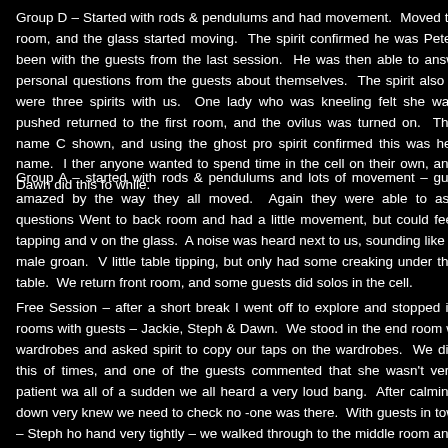Group D – Started with rods & pendulums and had movement. Moved to room, and the glass started moving. The spirit confirmed he was Peter been with the guests from the last session. He was then able to answ personal questions from the guests about themselves. The spirit also s were three spirits with us. One lady who was kneeling felt she was pushed returned to the first room, and the ovilus was turned on. The name C shown, and using the ghost pro spirit confirmed this was her name. I ther anyone wanted to spend time in the cell on their own, and Dawn did this fo while.
Group A – started with rods & pendulums and lots of movement – gue amazed by the way they all moved. Again they were able to ask questions Went to back room and had a little movement, but could feel tapping and v on the glass. A noise was heard next to us, sounding like a male groan. V little table tipping, but only had some creaking under the table. We return front room, and some guests did solos in the cell.
Free Session – after a short break I went off to explore and stopped in rooms with guests – Jackie, Steph & Dawn. We stood in the end room w wardrobes and asked spirit to copy our taps on the wardrobes. We did this of times, and one of the guests commented that she wasn't very patient wa all of a sudden we all heard a very loud bang. After calming down very knew we need to check no -one was there. With guests in tow – Steph ho hand very tightly – we walked through to the middle room and realised it wa door that had closed. This door had no handle on it, but we were able to go through. To our surprise nobody else was there or even on that top leve and I went back in, whilst Jackie and Dawn stood outside looking th